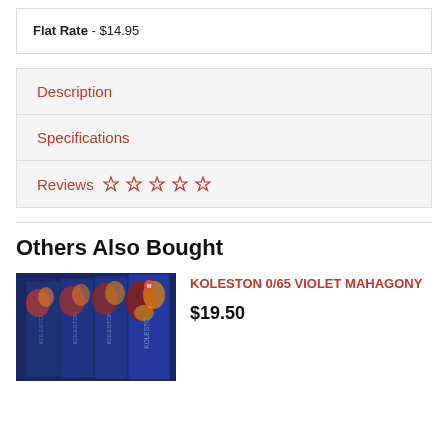Flat Rate - $14.95
Description
Specifications
Reviews ☆ ☆ ☆ ☆ ☆
Others Also Bought
[Figure (photo): Multiple Koleston product boxes fanned out, dark blue packaging with colorful hair imagery]
KOLESTON 0/65 VIOLET MAHAGONY
$19.50